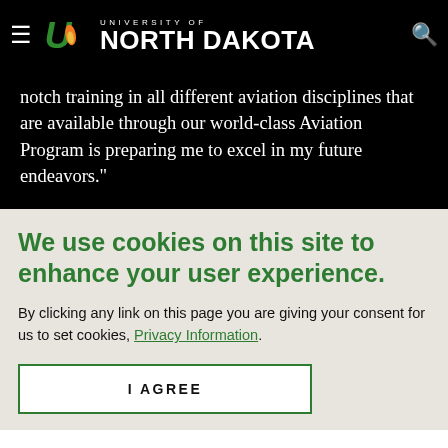University of North Dakota
notch training in all different aviation disciplines that are available through our world-class Aviation Program is preparing me to excel in my future endeavors."
We use cookies on this site to enhance your user experience.
By clicking any link on this page you are giving your consent for us to set cookies, Privacy Information.
I AGREE